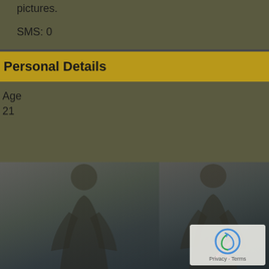pictures.
SMS: 0
Personal Details
Age
21
[Figure (photo): Two women posing side by side, partially darkened/overlaid photo]